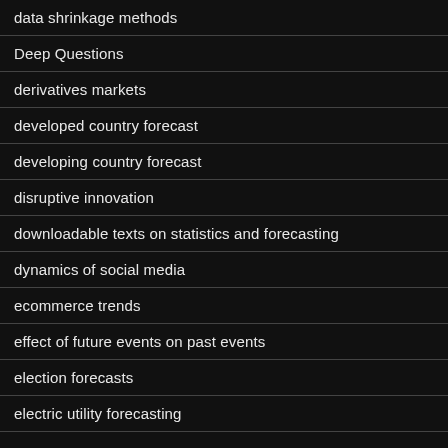data shrinkage methods
Deep Questions
derivatives markets
developed country forecast
developing country forecast
disruptive innovation
downloadable texts on statistics and forecasting
dynamics of social media
ecommerce trends
effect of future events on past events
election forecasts
electric utility forecasting